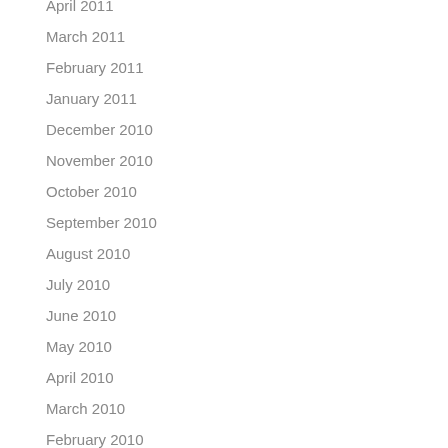April 2011
March 2011
February 2011
January 2011
December 2010
November 2010
October 2010
September 2010
August 2010
July 2010
June 2010
May 2010
April 2010
March 2010
February 2010